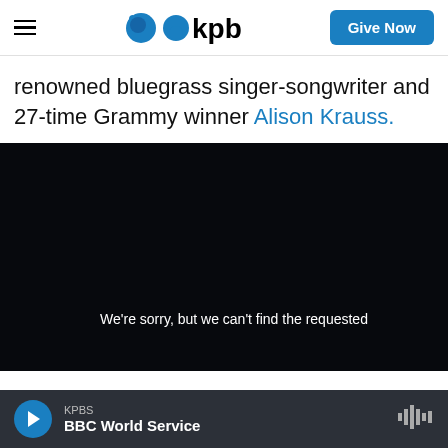kpbs | Give Now
renowned bluegrass singer-songwriter and 27-time Grammy winner Alison Krauss.
[Figure (screenshot): Embedded video player showing a dark/black screen with error message: We're sorry, but we can't find the requested]
KPBS | BBC World Service